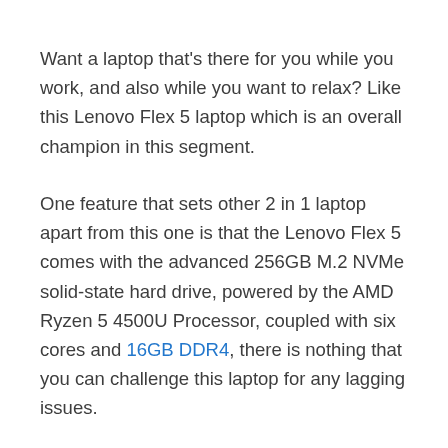Want a laptop that's there for you while you work, and also while you want to relax? Like this Lenovo Flex 5 laptop which is an overall champion in this segment.
One feature that sets other 2 in 1 laptop apart from this one is that the Lenovo Flex 5 comes with the advanced 256GB M.2 NVMe solid-state hard drive, powered by the AMD Ryzen 5 4500U Processor, coupled with six cores and 16GB DDR4, there is nothing that you can challenge this laptop for any lagging issues.
This laptop is so thin, not even an inch thick when closed, which is why we have picked this up that will suit both your work and relax modes. Another great feature this laptop has to offer is the physical privacy shutter on the camera,